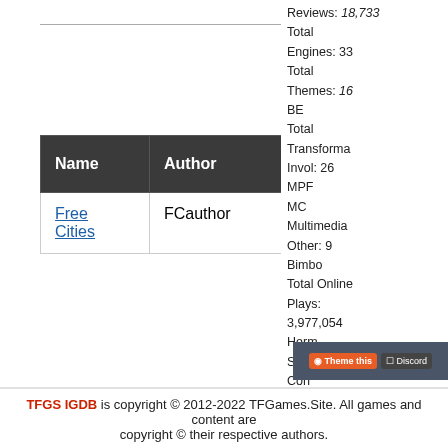| Name | Author | Last Update | Rating | Likes | Engine | Themes |
| --- | --- | --- | --- | --- | --- | --- |
| Free Cities | FCauthor | 2017-09-12 | XXX | 1346 | HTML |  |
Reviews: 18,733
Total Engines: 33
Total Themes: 16
BE
Grow
Transformation
Invol: 26
MPF
MC
Multimedia
Other: 9
Bimbo
Total Online Plays: 3,977,054
Herm
Shrink
Corr
ShoM
Support TFGS!
TFGS IGDB is copyright © 2012-2022 TFGames.Site. All games and content are copyright © their respective authors.